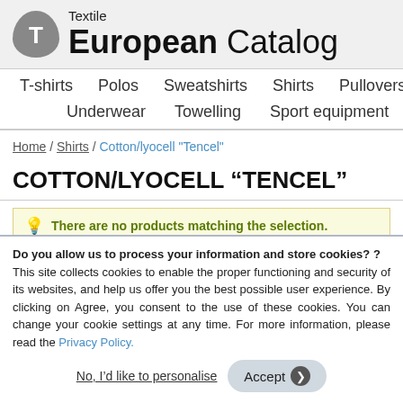[Figure (logo): Textile European Catalog logo with grey circle T icon and header text]
T-shirts  Polos  Sweatshirts  Shirts  Pullovers  Pants  Flee  Underwear  Towelling  Sport equipment  Tracksuits
Home / Shirts / Cotton/lyocell "Tencel"
COTTON/LYOCELL “TENCEL”
There are no products matching the selection.
Do you allow us to process your information and store cookies? ? This site collects cookies to enable the proper functioning and security of its websites, and help us offer you the best possible user experience. By clicking on Agree, you consent to the use of these cookies. You can change your cookie settings at any time. For more information, please read the Privacy Policy.
No, I’d like to personalise  Accept